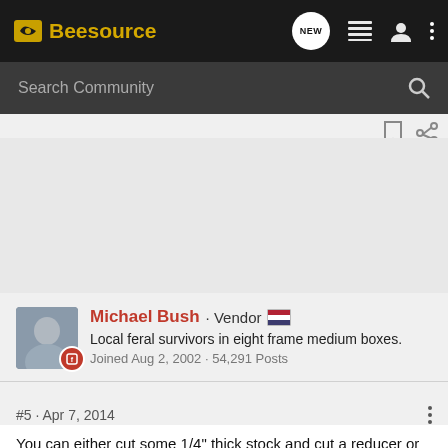Beesource
Search Community
Michael Bush · Vendor
Local feral survivors in eight frame medium boxes.
Joined Aug 2, 2002 · 54,291 Posts
#5 · Apr 7, 2014
You can either cut some 1/4" thick stock and cut a reducer or buy some screen molding (1/4" x 3/4" molding). Cut it about 2" short of the opening and put one nail in the center for a pivot.